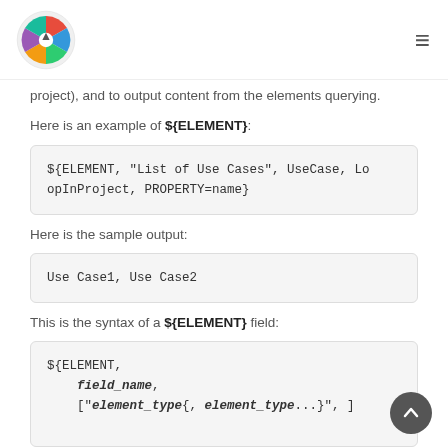Logo and navigation menu
project), and to output content from the elements querying.
Here is an example of ${ELEMENT}:
[Figure (screenshot): Code block showing: ${ELEMENT, "List of Use Cases", UseCase, LoopInProject, PROPERTY=name}]
Here is the sample output:
[Figure (screenshot): Code block showing: Use Case1, Use Case2]
This is the syntax of a ${ELEMENT} field:
[Figure (screenshot): Code block showing: ${ELEMENT,
    field_name,
    ["element_type{,element_type...}", ]]